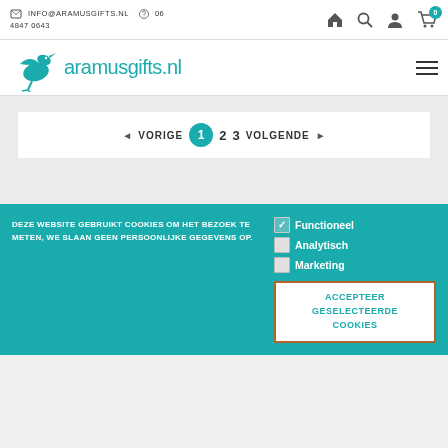INFO@ARAMUSGIFTS.NL  06 4847 0643
[Figure (logo): Aramusgifts.nl logo with teal bird and text]
◄ VORIGE  1  2  3  VOLGENDE ►
DEZE WEBSITE GEBRUIKT COOKIES OM HET BEZOEK TE METEN, WE SLAAN GEEN PERSOONLIJKE GEGEVENS OP.
✓ Functioneel
☐ Analytisch
☐ Marketing
ACCEPTEER GESELECTEERDE COOKIES